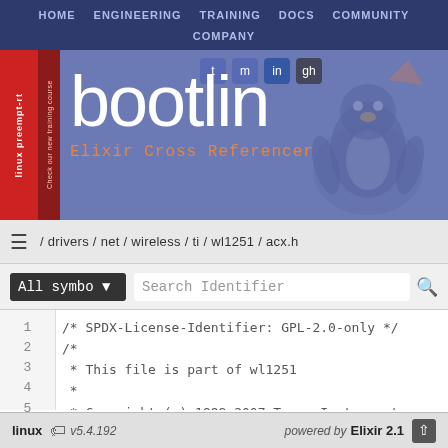HOME  ENGINEERING  TRAINING  DOCS  COMMUNITY  COMPANY
[Figure (screenshot): Bootlin website header with logo 'bootlin', Elixir Cross Referencer subtitle, social media icons, penguin mascot, and red sidebar with 'linux preempt-rt Check our new training course']
/ drivers / net / wireless / ti / wl1251 / acx.h
All symbo ▾  Search Identifier
1  /* SPDX-License-Identifier: GPL-2.0-only */
2  /*
3   * This file is part of wl1251
4   *
5   * Copyright (c) 1998-2007 Texas Instrument
6   * Copyright (C) 2008 Nokia Corporation
7   */
linux  v5.4.192  powered by  Elixir 2.1